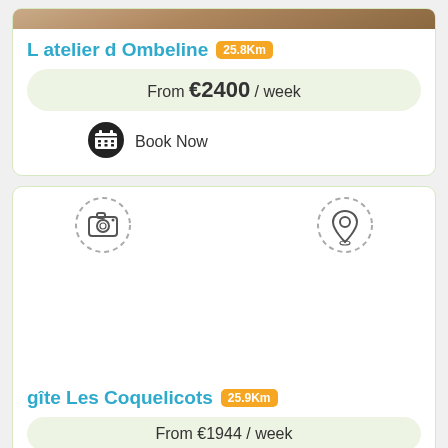[Figure (photo): Top portion of a property photo (brown/tan interior room)]
L atelier d Ombeline 25.8Km
From €2400 / week
Book Now
[Figure (illustration): Camera icon in dashed circle (no photo placeholder)]
[Figure (illustration): Location pin icon in dashed circle]
gîte Les Coquelicots 25.9Km
From €1944 / week